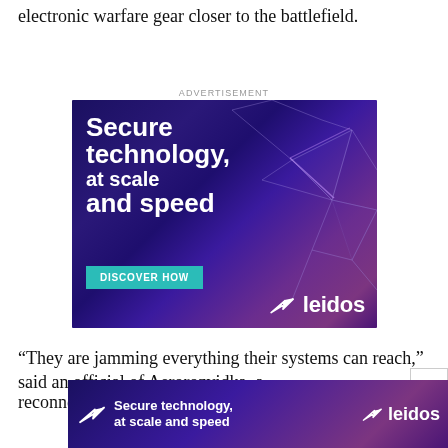electronic warfare gear closer to the battlefield.
ADVERTISEMENT
[Figure (illustration): Leidos advertisement banner with dark blue and purple geometric background with triangular network lines. Large white bold text reads: Secure technology, at scale and speed. Teal button reads: DISCOVER HOW. Leidos logo with paper airplane icon in bottom right.]
“They are jamming everything their systems can reach,” said an official of Aerorozvidka, a reconnaissance
[Figure (illustration): Bottom Leidos ad strip with text: Secure technology, at scale and speed, with Leidos arrow logo.]